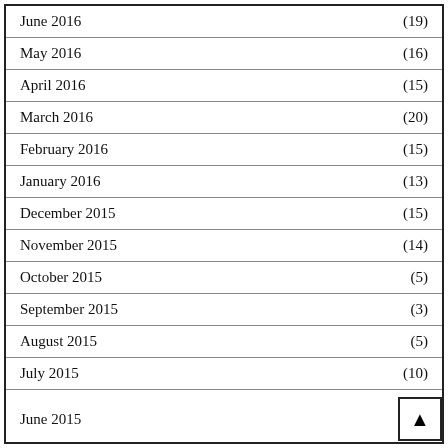June 2016 (19)
May 2016 (16)
April 2016 (15)
March 2016 (20)
February 2016 (15)
January 2016 (13)
December 2015 (15)
November 2015 (14)
October 2015 (5)
September 2015 (3)
August 2015 (5)
July 2015 (10)
June 2015